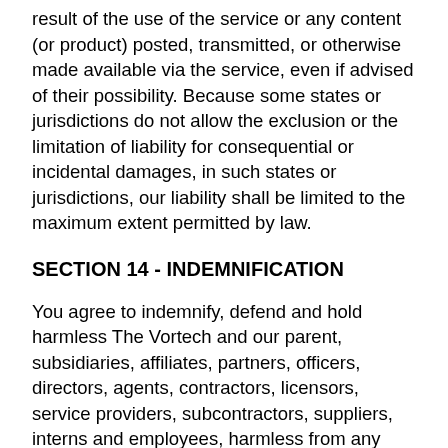result of the use of the service or any content (or product) posted, transmitted, or otherwise made available via the service, even if advised of their possibility. Because some states or jurisdictions do not allow the exclusion or the limitation of liability for consequential or incidental damages, in such states or jurisdictions, our liability shall be limited to the maximum extent permitted by law.
SECTION 14 - INDEMNIFICATION
You agree to indemnify, defend and hold harmless The Vortech and our parent, subsidiaries, affiliates, partners, officers, directors, agents, contractors, licensors, service providers, subcontractors, suppliers, interns and employees, harmless from any claim or demand, including reasonable attorneys' fees, made by any third-party due to or arising out of your breach of these Terms of Service or the documents they incorporate by reference, or your violation of any law or the rights of